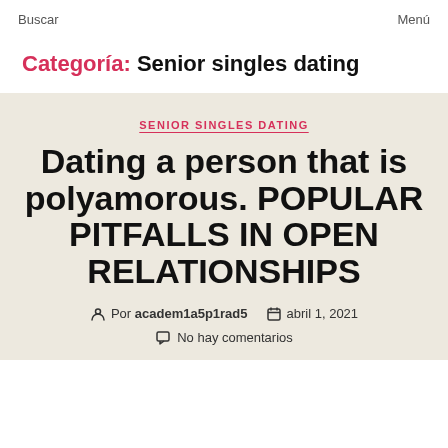Buscar    Menú
Categoría: Senior singles dating
SENIOR SINGLES DATING
Dating a person that is polyamorous. POPULAR PITFALLS IN OPEN RELATIONSHIPS
Por academ1a5p1rad5    abril 1, 2021
No hay comentarios